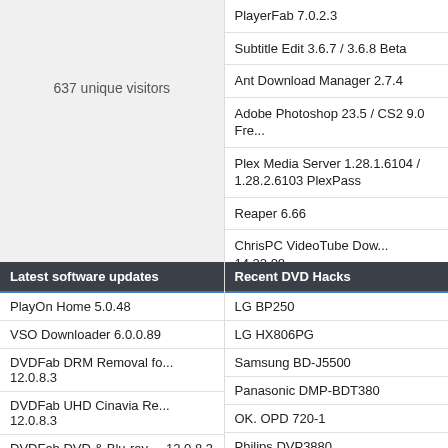637 unique visitors
PlayerFab 7.0.2.3
Subtitle Edit 3.6.7 / 3.6.8 Beta
Ant Download Manager 2.7.4
Adobe Photoshop 23.5 / CS2 9.0 Fre...
Plex Media Server 1.28.1.6104 / 1.28.2.6103 PlexPass
Reaper 6.66
ChrisPC VideoTube Dow... 14.22.08...
ProgDVB 7.46.3
Latest software updates
Recent DVD Hacks
PlayOn Home 5.0.48
LG BP250
VSO Downloader 6.0.0.89
LG HX806PG
DVDFab DRM Removal fo... 12.0.8.3
Samsung BD-J5500
DVDFab UHD Cinavia Re... 12.0.8.3
Panasonic DMP-BDT380
DVDFab DVD & Blu-ray ... 12.0.8.3
OK. OPD 720-1
JRiver Media Center 29.0.86
Philips DVP3880
Camtasia Studio 2022.1.0
Sony DVP-SR200P/B